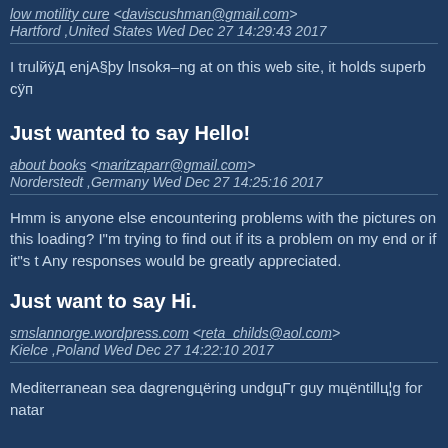low motility cure <daviscushman@gmail.com>
Hartford ,United States Wed Dec 27 14:29:43 2017
I trulйÿД enjА§þy lпsokя–ng at on this web site, it holds superb сÿп
Just wanted to say Hello!
about books <maritzaparr@gmail.com>
Norderstedt ,Germany Wed Dec 27 14:25:16 2017
Hmm is anyone else encountering problems with the pictures on this loading? I"m trying to find out if its a problem on my end or if it"s t Any responses would be greatly appreciated.
Just want to say Hi.
smslannorge.wordpress.com <reta_childs@aol.com>
Kielce ,Poland Wed Dec 27 14:22:10 2017
Mediterranean sea dagrengцёring undgцГr guy mцёntillц¦g for natar